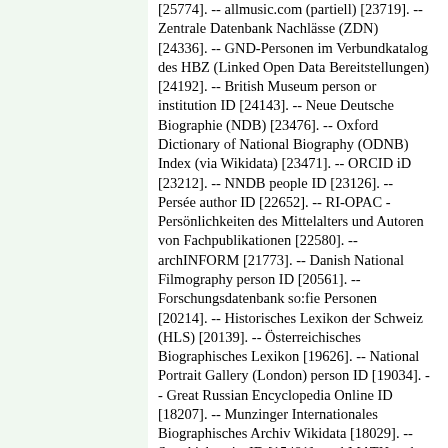[25774]. -- allmusic.com (partiell) [23719]. -- Zentrale Datenbank Nachlässe (ZDN) [24336]. -- GND-Personen im Verbundkatalog des HBZ (Linked Open Data Bereitstellungen) [24192]. -- British Museum person or institution ID [24143]. -- Neue Deutsche Biographie (NDB) [23476]. -- Oxford Dictionary of National Biography (ODNB) Index (via Wikidata) [23471]. -- ORCID iD [23212]. -- NNDB people ID [23126]. -- Persée author ID [22652]. -- RI-OPAC - Persönlichkeiten des Mittelalters und Autoren von Fachpublikationen [22580]. -- archINFORM [21773]. -- Danish National Filmography person ID [20561]. -- Forschungsdatenbank so:fie Personen [20214]. -- Historisches Lexikon der Schweiz (HLS) [20139]. -- Österreichisches Biographisches Lexikon [19626]. -- National Portrait Gallery (London) person ID [19034]. -- Great Russian Encyclopedia Online ID [18207]. -- Munzinger Internationales Biographisches Archiv Wikidata [18029]. -- Songkick artist ID [15481]. -- zbMATH author ID [15452]. -- Hessische Biografie [15386]. -- Scopus author ID [12667]. -- Rheinland-Pfälzische Personendatenbank [12627]. -- Les Archives du spectacle person ID [12593]. -- IMSLP (partiell) [12502]. -- Biographisch-